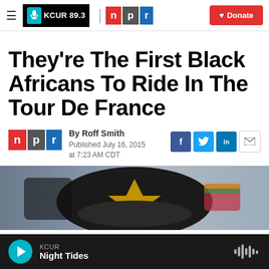KCUR 89.3 | npr | Donate
They're The First Black Africans To Ride In The Tour De France
By Roff Smith
Published July 16, 2015 at 7:23 AM CDT
[Figure (photo): Close-up photo of a cyclist wearing a black and gold helmet]
KCUR | Night Tides